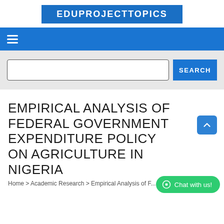EDUPROJECTTOPICS
[Figure (screenshot): Navigation bar with hamburger menu icon on blue background]
[Figure (screenshot): Search bar with text input field and blue SEARCH button on grey background]
EMPIRICAL ANALYSIS OF FEDERAL GOVERNMENT EXPENDITURE POLICY ON AGRICULTURE IN NIGERIA
Home > Academic Research > Empirical Analysis of F...